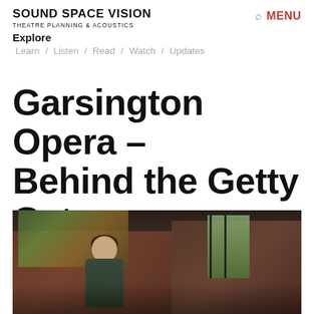SOUND SPACE VISION
THEATRE PLANNING & ACOUSTICS
Explore
Learn / Listen / Read / Watch / Updates
Garsington Opera – Behind the Getty Gates
[Figure (photo): A man sitting in a dimly lit room with brick walls, decorative paintings behind him, and a window with bars letting in green foliage light to the right]